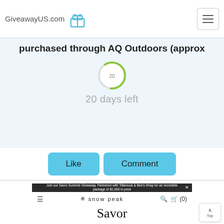GiveawayUS.com
purchased through AQ Outdoors (approx
20 days left
Like
Comment
Join our Savor Summer Giveaway. Partnered with Tillamook & Bee's Wrap for an incredible package of $1,000 in prize
snow peak
Savor Summer Giveaway
[Figure (photo): Savor Summer Giveaway promotional image showing food items with text overlay]